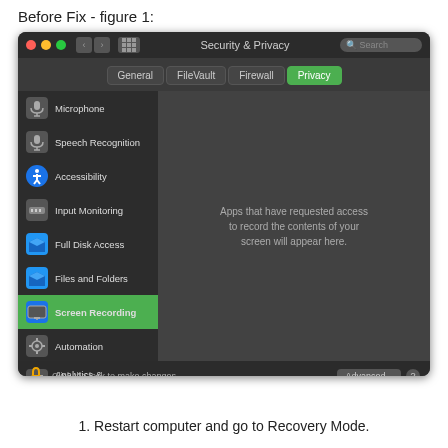Before Fix - figure 1:
[Figure (screenshot): macOS Security & Privacy system preferences window showing the Privacy tab selected with Screen Recording highlighted in the sidebar. The right panel shows: 'Apps that have requested access to record the contents of your screen will appear here.' The bottom bar shows a lock icon and 'Click the lock to make changes.' with an Advanced... button.]
1. Restart computer and go to Recovery Mode.